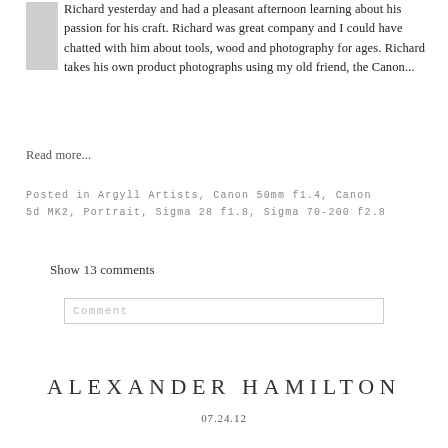Richard yesterday and had a pleasant afternoon learning about his passion for his craft. Richard was great company and I could have chatted with him about tools, wood and photography for ages. Richard takes his own product photographs using my old friend, the Canon...
Read more...
Posted in Argyll Artists, Canon 50mm f1.4, Canon 5d MK2, Portrait, Sigma 28 f1.8, Sigma 70-200 f2.8
Show 13 comments
Comment
ALEXANDER HAMILTON
07.24.12